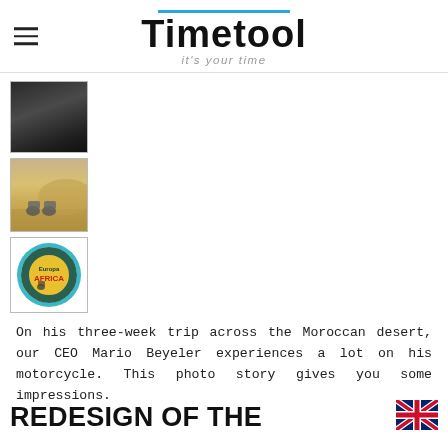Timetool — it's your time
[Figure (photo): Three thumbnail photos stacked vertically on the left: (1) dark rocky/sand desert terrain, (2) two motorcycles in Moroccan desert landscape, (3) a round sticker/badge showing Europa Africa motorcycle trip]
On his three-week trip across the Moroccan desert, our CEO Mario Beyeler experiences a lot on his motorcycle. This photo story gives you some impressions.
REDESIGN OF THE
[Figure (illustration): UK / British flag icon in bottom-right corner]